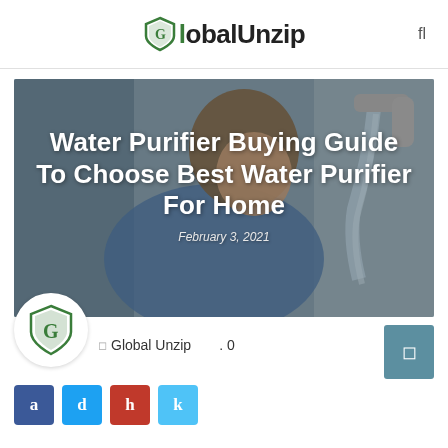GlobalUnzip
[Figure (photo): Woman drinking water from a faucet tap, used as hero image background for article about water purifiers]
Water Purifier Buying Guide To Choose Best Water Purifier For Home
February 3, 2021
[Figure (logo): GlobalUnzip shield logo circular avatar]
Global Unzip   0
Social share buttons: a d h k